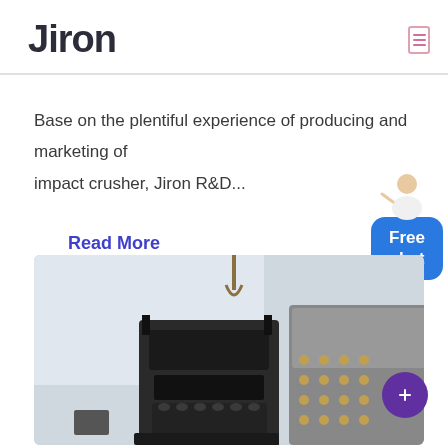Jiron
Base on the plentiful experience of producing and marketing of impact crusher, Jiron R&D...
Read More
[Figure (photo): Industrial machinery photo showing a cone crusher and an impact crusher side by side in a workshop/factory setting.]
[Figure (illustration): Free chat widget with avatar and blue button labeled 'Free chat']